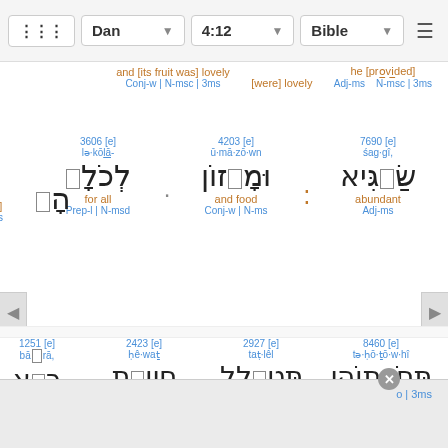Dan | 4:12 | Bible
and [its fruit was] lovely | he [was] | as [provided]
Conj-w | N-msc | 3ms | Adj-ms | N-msc | 3ms
3606 [e] bêh; In it [was] Prep | 3ms | 4203 [e] lə·kō|lā- for all Prep-l | N-msd | 7690 [e] śag·gî, abundant Adj-ms
Hebrew: הָ • לְכֹלָ- • וּמָזוֹן • שַׂגִּיא
1251 [e] bārā, 2423 [e] ḥê·waṯ 2927 [e] taṭ·lêl 8460 [e] tə·ḥō·ṯō·w·hî
Hebrew: בָּא • חַיְוַת • תַּטְלֵל • תְּחֹתוֹהִי
der it | o | 3ms